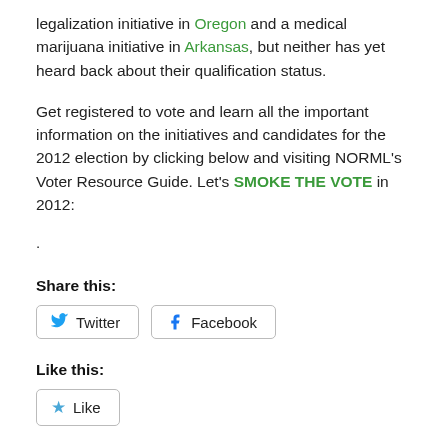legalization initiative in Oregon and a medical marijuana initiative in Arkansas, but neither has yet heard back about their qualification status.
Get registered to vote and learn all the important information on the initiatives and candidates for the 2012 election by clicking below and visiting NORML's Voter Resource Guide. Let's SMOKE THE VOTE in 2012:
.
Share this:
Twitter  Facebook
Like this:
Like